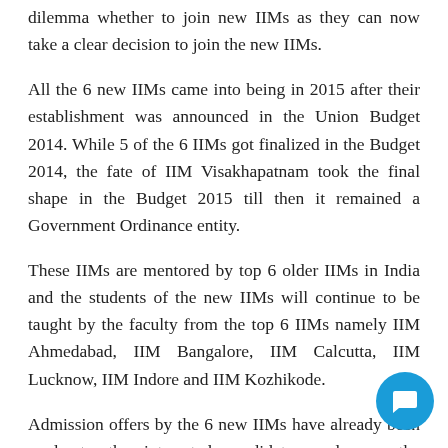dilemma whether to join new IIMs as they can now take a clear decision to join the new IIMs.
All the 6 new IIMs came into being in 2015 after their establishment was announced in the Union Budget 2014. While 5 of the 6 IIMs got finalized in the Budget 2014, the fate of IIM Visakhapatnam took the final shape in the Budget 2015 till then it remained a Government Ordinance entity.
These IIMs are mentored by top 6 older IIMs in India and the students of the new IIMs will continue to be taught by the faculty from the top 6 IIMs namely IIM Ahmedabad, IIM Bangalore, IIM Calcutta, IIM Lucknow, IIM Indore and IIM Kozhikode.
Admission offers by the 6 new IIMs have already been made to the interested candidates and now the candidates have to take a quick decision which one to join as the last date is drawing to a close.